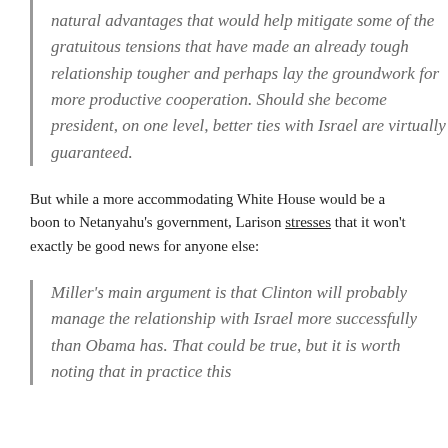natural advantages that would help mitigate some of the gratuitous tensions that have made an already tough relationship tougher and perhaps lay the groundwork for more productive cooperation. Should she become president, on one level, better ties with Israel are virtually guaranteed.
But while a more accommodating White House would be a boon to Netanyahu’s government, Larison stresses that it won’t exactly be good news for anyone else:
Miller’s main argument is that Clinton will probably manage the relationship with Israel more successfully than Obama has. That could be true, but it is worth noting that in practice this